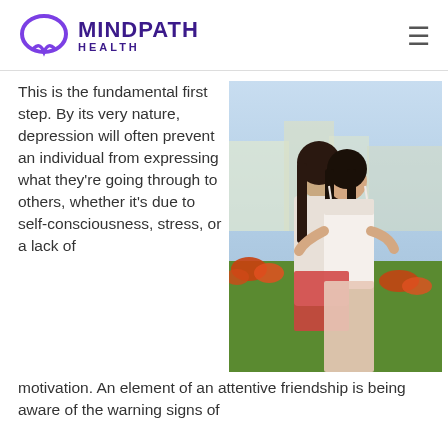MINDPATH HEALTH
This is the fundamental first step. By its very nature, depression will often prevent an individual from expressing what they're going through to others, whether it's due to self-consciousness, stress, or a lack of motivation. An element of an attentive friendship is being aware of the warning signs of
[Figure (photo): Two young women embracing outdoors, with orange flowers and greenery in the background. One woman wears a white top and the other a red checkered outfit.]